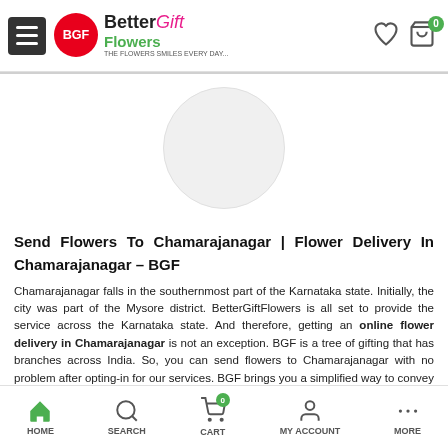Better Gift Flowers – navigation header with logo, heart icon, cart (0)
[Figure (illustration): Circular placeholder image area (light gray circle on white background)]
Send Flowers To Chamarajanagar | Flower Delivery In Chamarajanagar – BGF
Chamarajanagar falls in the southernmost part of the Karnataka state. Initially, the city was part of the Mysore district. BetterGiftFlowers is all set to provide the service across the Karnataka state. And therefore, getting an online flower delivery in Chamarajanagar is not an exception. BGF is a tree of gifting that has branches across India. So, you can send flowers to Chamarajanagar with no problem after opting-in for our services. BGF brings you a simplified way to convey your regards to your dear ones in Chamarajanagar. BGF promises a joyful moment for your loved ones.
HOME  SEARCH  CART  MY ACCOUNT  MORE